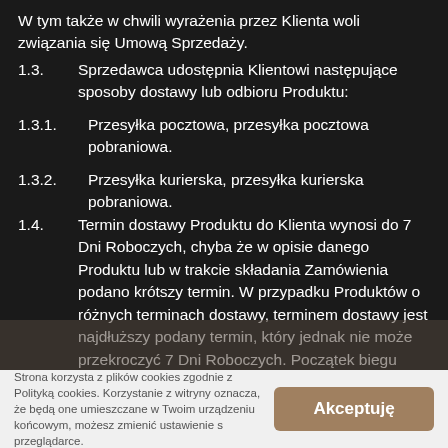W tym także w chwili wyrażenia przez Klienta woli związania się Umową Sprzedaży.
1.3.        Sprzedawca udostępnia Klientowi następujące sposoby dostawy lub odbioru Produktu:
1.3.1.        Przesyłka pocztowa, przesyłka pocztowa pobraniowa.
1.3.2.        Przesyłka kurierska, przesyłka kurierska pobraniowa.
1.4.        Termin dostawy Produktu do Klienta wynosi do 7 Dni Roboczych, chyba że w opisie danego Produktu lub w trakcie składania Zamówienia podano krótszy termin. W przypadku Produktów o różnych terminach dostawy, terminem dostawy jest najdłuższy podany termin, który jednak nie może przekroczyć 7 Dni Roboczych. Początek biegu terminu dostawy Produktu do Klienta liczy się w następujący sposób:
1.4.1.        W przypadku wyboru przez Klienta sposobu płatności przelewem, płatności elektroniczne lub kartą płatniczą - od dnia
Strona korzysta z plików cookies zgodnie z Polityką cookies. Korzystanie z witryny oznacza, że będą one umieszczane w Twoim urządzeniu końcowym, możesz zmienić ustawienie s przeglądarce.